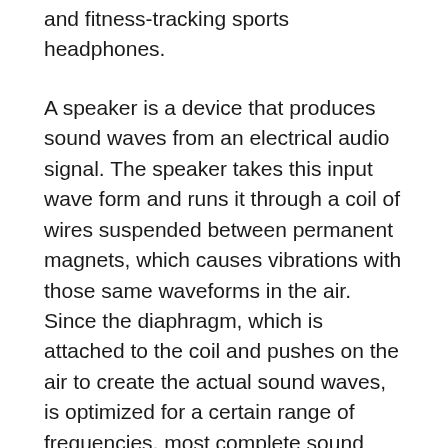and fitness-tracking sports headphones.
A speaker is a device that produces sound waves from an electrical audio signal. The speaker takes this input wave form and runs it through a coil of wires suspended between permanent magnets, which causes vibrations with those same waveforms in the air. Since the diaphragm, which is attached to the coil and pushes on the air to create the actual sound waves, is optimized for a certain range of frequencies, most complete sound systems will use multiple drivers to get accuracy across the full range of sounds we would want to produce.
Speakers can be identified by their design, which remains largely unchanged from their early 1900's origins. Speakers will have a conical diaphragm used to produce the sound, often made from a lightweight yet rigid material that is also well damped, to prevent sound